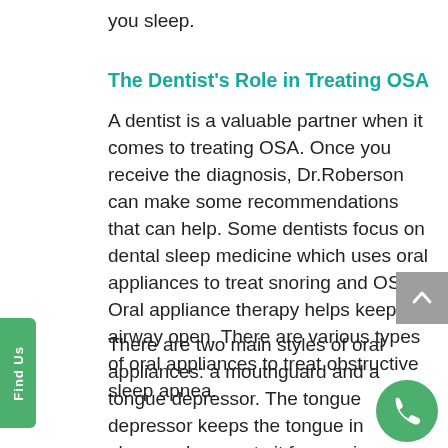you sleep.
The Dentist's Role in Treating OSA
A dentist is a valuable partner when it comes to treating OSA. Once you receive the diagnosis, Dr.Roberson can make some recommendations that can help. Some dentists focus on dental sleep medicine which uses oral appliances to treat snoring and OSA. Oral appliance therapy helps keep the airway open. There are various types of oral appliances to treat obstructive sleep apnea.
There are two main styles of oral appliances: a mouthguard and a tongue depressor. The tongue depressor keeps the tongue in place and prevents it from going to the back of the throat. A mouthpiece is used to push the jaw